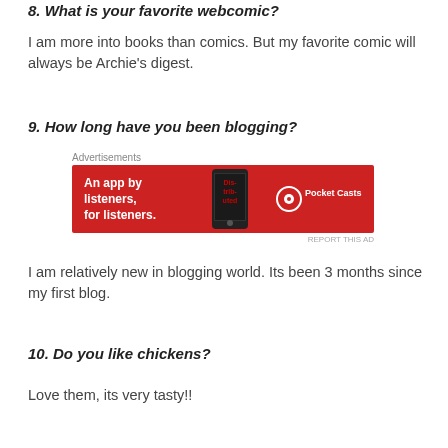8. What is your favorite webcomic?
I am more into books than comics. But my favorite comic will always be Archie's digest.
9. How long have you been blogging?
[Figure (other): Advertisement banner for Pocket Casts app: red background with phone image, text 'An app by listeners, for listeners.' and Pocket Casts logo]
I am relatively new in blogging world. Its been 3 months since my first blog.
10. Do you like chickens?
Love them, its very tasty!!